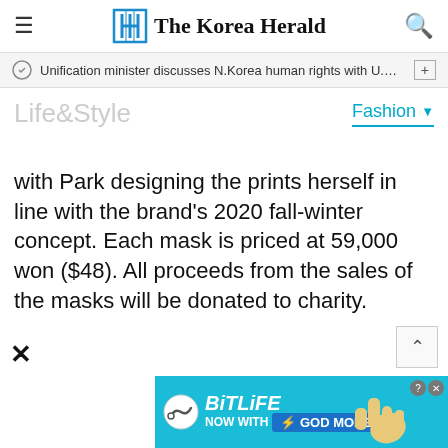The Korea Herald
Unification minister discusses N.Korea human rights with U.N. ra···
Life&Style
Fashion
with Park designing the prints herself in line with the brand's 2020 fall-winter concept. Each mask is priced at 59,000 won ($48). All proceeds from the sales of the masks will be donated to charity.
[Figure (screenshot): BitLife advertisement banner: 'NOW WITH GOD MODE' with hand/finger graphic on cyan background]